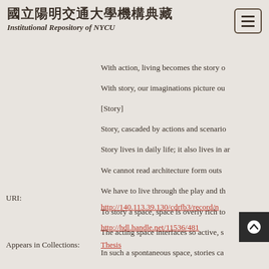國立陽明交通大學機構典藏 Institutional Repository of NYCU
With action, living becomes the story o
With story, our imaginations picture ou
[Story]
Story, cascaded by actions and scenario
Story lives in daily life; it also lives in ar
We cannot read architecture form outs
We have to live through the play and th
To story a space, space is overly rich to
The acting space interfaces so active, s
In such a spontaneous space, stories ca
Having an architecture moves within st
URI:
http://140.113.39.130/cdrfb3/record/n
http://hdl.handle.net/11536/481
Appears in Collections: Thesis